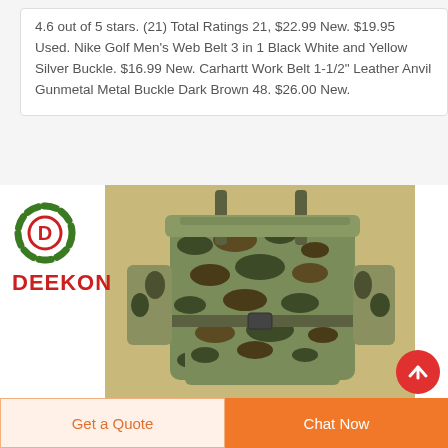4.6 out of 5 stars. (21) Total Ratings 21, $22.99 New. $19.95 Used. Nike Golf Men's Web Belt 3 in 1 Black White and Yellow Silver Buckle. $16.99 New. Carhartt Work Belt 1-1/2" Leather Anvil Gunmetal Metal Buckle Dark Brown 48. $26.00 New.
[Figure (photo): Deekon brand logo (circular target/crosshair design in green and red with a D, and red DEEKON text below) alongside a large camouflage military backpack/rucksack in tiger stripe pattern.]